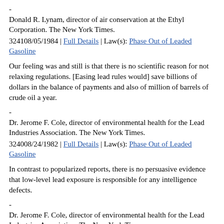-
Donald R. Lynam, director of air conservation at the Ethyl Corporation. The New York Times.
324108/05/1984 | Full Details | Law(s): Phase Out of Leaded Gasoline
Our feeling was and still is that there is no scientific reason for not relaxing regulations. [Easing lead rules would] save billions of dollars in the balance of payments and also of million of barrels of crude oil a year.
-
Dr. Jerome F. Cole, director of environmental health for the Lead Industries Association. The New York Times.
324008/24/1982 | Full Details | Law(s): Phase Out of Leaded Gasoline
In contrast to popularized reports, there is no persuasive evidence that low-level lead exposure is responsible for any intelligence defects.
-
Dr. Jerome F. Cole, director of environmental health for the Lead Industries Association. The New York Times.
323904/18/1982 | Full Details | Law(s): Phase Out of Leaded